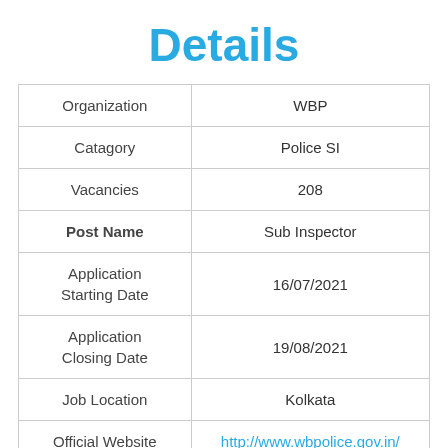Details
| Organization | WBP |
| Catagory | Police SI |
| Vacancies | 208 |
| Post Name | Sub Inspector |
| Application Starting Date | 16/07/2021 |
| Application Closing Date | 19/08/2021 |
| Job Location | Kolkata |
| Official Website | http://www.wbpolice.gov.in/ |